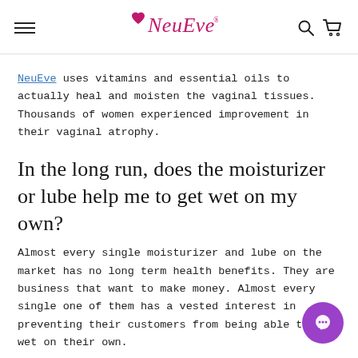NeuEve [logo with hamburger menu, search and cart icons]
NeuEve uses vitamins and essential oils to actually heal and moisten the vaginal tissues. Thousands of women experienced improvement in their vaginal atrophy.
In the long run, does the moisturizer or lube help me to get wet on my own?
Almost every single moisturizer and lube on the market has no long term health benefits. They are business that want to make money. Almost every single one of them has a vested interest in preventing their customers from being able to get wet on their own.
At NeuEve, that's like a bonus — to restore...